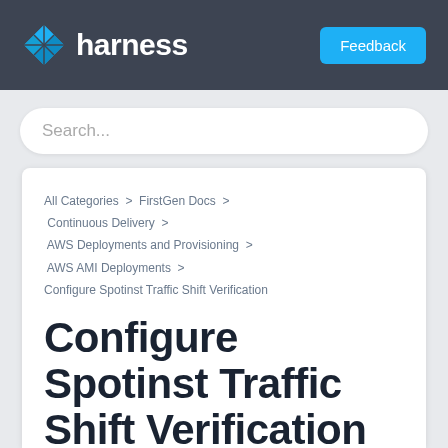harness
Search...
All Categories > FirstGen Docs > Continuous Delivery > AWS Deployments and Provisioning > AWS AMI Deployments > Configure Spotinst Traffic Shift Verification
Configure Spotinst Traffic Shift Verification
In this topic